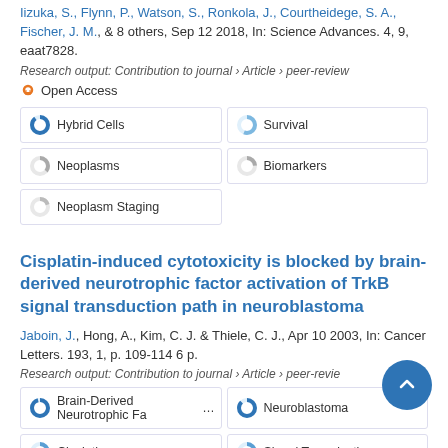Iizuka, S., Flynn, P., Watson, S., Ronkola, J., Courtheidege, S. A., Fischer, J. M., & 8 others, Sep 12 2018, In: Science Advances. 4, 9, eaat7828.
Research output: Contribution to journal › Article › peer-review
Open Access
Hybrid Cells
Survival
Neoplasms
Biomarkers
Neoplasm Staging
Cisplatin-induced cytotoxicity is blocked by brain-derived neurotrophic factor activation of TrkB signal transduction path in neuroblastoma
Jaboin, J., Hong, A., Kim, C. J. & Thiele, C. J., Apr 10 2003, In: Cancer Letters. 193, 1, p. 109-114 6 p.
Research output: Contribution to journal › Article › peer-review
Brain-Derived Neurotrophic Fa...
Neuroblastoma
Cisplatin
Signal Transduction